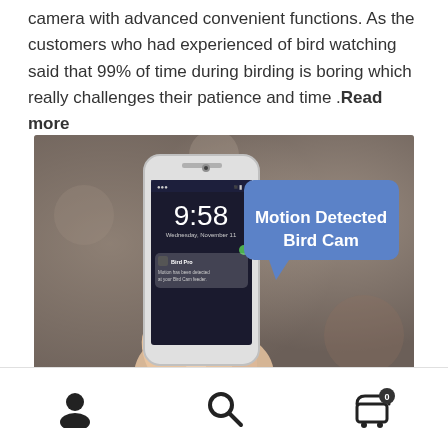camera with advanced convenient functions. As the customers who had experienced of bird watching said that 99% of time during birding is boring which really challenges their patience and time .Read more
[Figure (photo): A hand holding a white smartphone showing a lock screen with time 9:58 and a notification, with a blue speech bubble overlay reading 'Motion Detected Bird Cam']
Navigation bar with user icon, search icon, and cart icon with badge showing 0